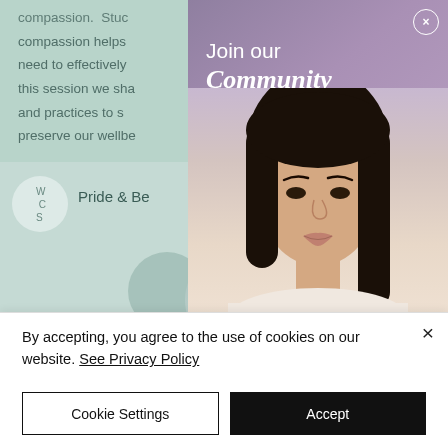compassion. Stud compassion helps need to effectively this session we sha and practices to s preserve our wellbe
[Figure (screenshot): Website background with mint/teal background showing partial article text about compassion and wellbeing, with a card section showing 'Pride & Be' heading and W/C/S logo circle]
[Figure (photo): Popup modal with purple/mauve background showing 'Join our Community' headline and a photo of a young Asian woman with straight dark hair wearing a cream turtleneck sweater]
Join our Community
Pride & Be
By accepting, you agree to the use of cookies on our website. See Privacy Policy
Cookie Settings
Accept